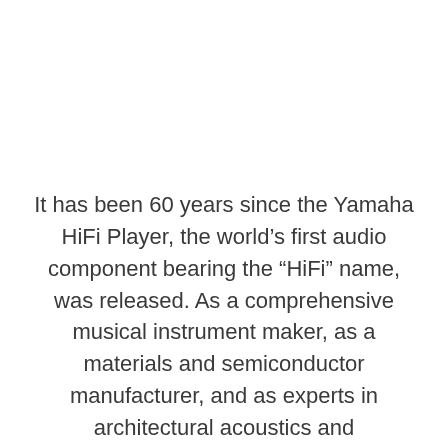It has been 60 years since the Yamaha HiFi Player, the world's first audio component bearing the “HiFi” name, was released. As a comprehensive musical instrument maker, as a materials and semiconductor manufacturer, and as experts in architectural acoustics and